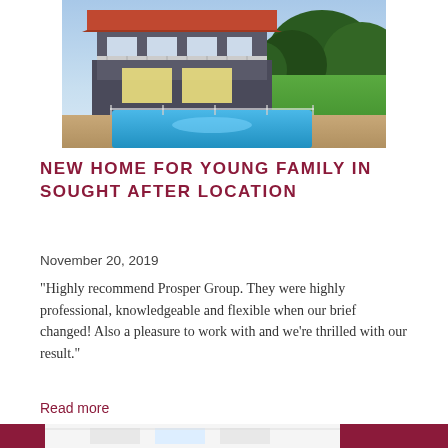[Figure (photo): Exterior photo of a two-storey house at dusk with illuminated pool in foreground, lawn and trees in background]
NEW HOME FOR YOUNG FAMILY IN SOUGHT AFTER LOCATION
November 20, 2019
"Highly recommend Prosper Group. They were highly professional, knowledgeable and flexible when our brief changed! Also a pleasure to work with and we're thrilled with our result."
Read more
[Figure (photo): Interior photo of a bright white room with windows]